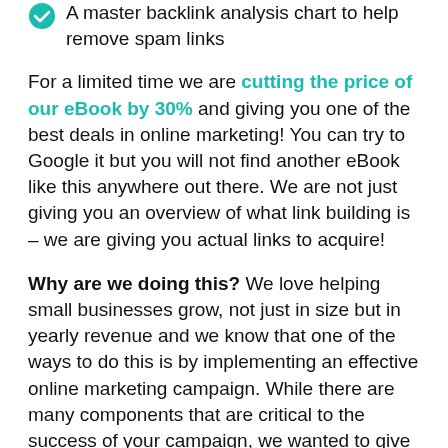A master backlink analysis chart to help remove spam links
For a limited time we are cutting the price of our eBook by 30% and giving you one of the best deals in online marketing! You can try to Google it but you will not find another eBook like this anywhere out there. We are not just giving you an overview of what link building is – we are giving you actual links to acquire!
Why are we doing this? We love helping small businesses grow, not just in size but in yearly revenue and we know that one of the ways to do this is by implementing an effective online marketing campaign. While there are many components that are critical to the success of your campaign, we wanted to give you a head start and help you with at least one piece of the puzzle.